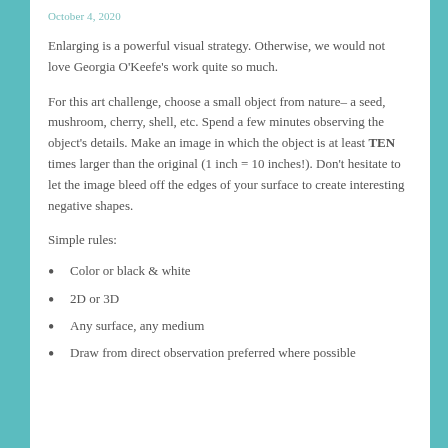October 4, 2020
Enlarging is a powerful visual strategy. Otherwise, we would not love Georgia O'Keefe's work quite so much.
For this art challenge, choose a small object from nature– a seed, mushroom, cherry, shell, etc. Spend a few minutes observing the object's details. Make an image in which the object is at least TEN times larger than the original (1 inch = 10 inches!). Don't hesitate to let the image bleed off the edges of your surface to create interesting negative shapes.
Simple rules:
Color or black & white
2D or 3D
Any surface, any medium
Draw from direct observation preferred where possible